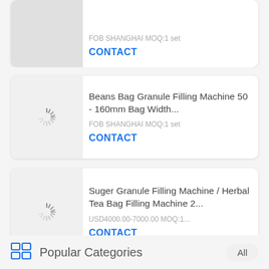[Figure (screenshot): Partial product card at top showing image placeholder and contact button area]
FOB SHANGHAI MOQ:1 set
CONTACT
Beans Bag Granule Filling Machine 50 - 160mm Bag Width...
FOB SHANGHAI MOQ:1 set
CONTACT
Suger Granule Filling Machine / Herbal Tea Bag Filling Machine 2...
USD4000.00-7000.00 MOQ:1...
CONTACT
Popular Categories
All